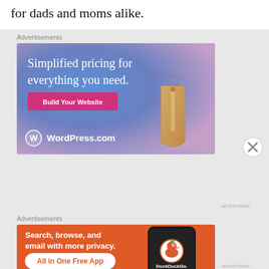for dads and moms alike.
Advertisements
[Figure (illustration): WordPress.com advertisement: Gradient blue-purple background with a price tag graphic. Text reads 'Simplified pricing for everything you need.' with a pink 'Build Your Website' button and WordPress.com logo.]
Advertisements
[Figure (illustration): DuckDuckGo advertisement: Orange background with a smartphone graphic showing the DuckDuckGo app. Text reads 'Search, browse, and email with more privacy. All in One Free App' and DuckDuckGo logo.]